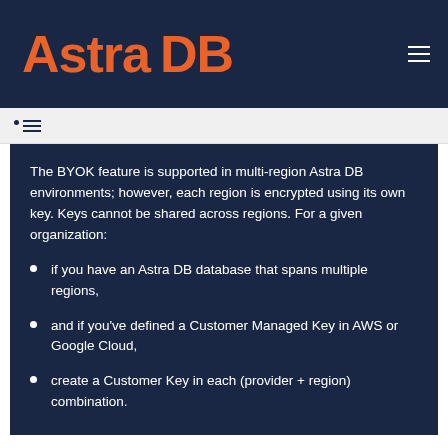Astra DB
The BYOK feature is supported in multi-region Astra DB environments; however, each region is encrypted using its own key. Keys cannot be shared across regions. For a given organization:
if you have an Astra DB database that spans multiple regions,
and if you've defined a Customer Managed Key in AWS or Google Cloud,
create a Customer Key in each (provider + region) combination.
Pricing